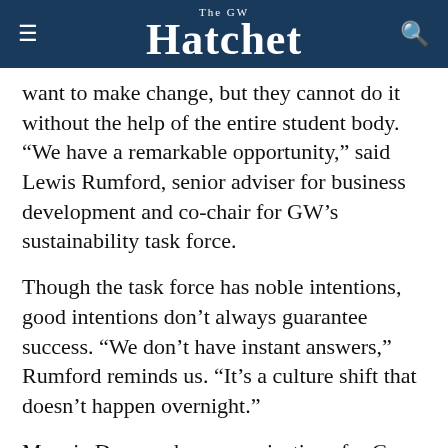The GW Hatchet
want to make change, but they cannot do it without the help of the entire student body. “We have a remarkable opportunity,” said Lewis Rumford, senior adviser for business development and co-chair for GW’s sustainability task force.
Though the task force has noble intentions, good intentions don’t always guarantee success. “We don’t have instant answers,” Rumford reminds us. “It’s a culture shift that doesn’t happen overnight.”
Maggie Desmond, communications for Green GW and a member of the task force, said that one of the department’s missions in the coming...